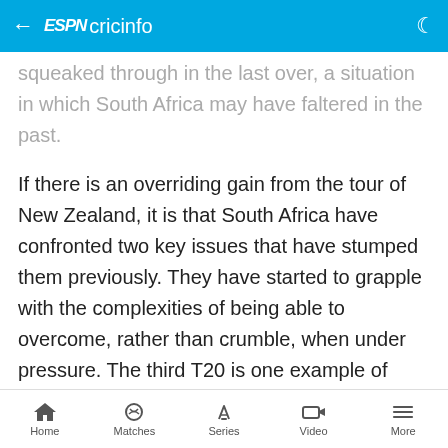ESPN cricinfo
squeaked through in the last over, a situation in which South Africa may have faltered in the past.
If there is an overriding gain from the tour of New Zealand, it is that South Africa have confronted two key issues that have stumped them previously. They have started to grapple with the complexities of being able to overcome, rather than crumble, when under pressure. The third T20 is one example of that. Fighting to take the first-innings lead after collapsing to 88 for 6 in Hamilton is another. They also combined to form a strong unit rather than a unit that merely appears strong because of the presence of a few
Home  Matches  Series  Video  More